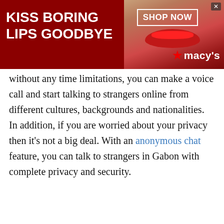[Figure (photo): Advertisement banner for Macy's with red background, woman's face with red lips, 'KISS BORING LIPS GOODBYE' text, 'SHOP NOW' button, and Macy's logo with star.]
without any time limitations, you can make a voice call and start talking to strangers online from different cultures, backgrounds and nationalities. In addition, if you are worried about your privacy then it's not a big deal. With an anonymous chat feature, you can talk to strangers in Gabon with complete privacy and security.
Moreover, maintaining long distance relationships is extremely difficult via only text chat. Of course, you want to see and hear your loved one's voice. So,
[Figure (screenshot): Scroll-up arrow button overlay in cyan/teal background.]
[Figure (infographic): Bottom advertisement strip with two sponsored content items: 'Why You Need This Strange Device when the Grid Goes Down. Learn More' by Dark Age Defense, and '20 Celebrities and Their Real Names You Probably Don't Know!' by Billy News.]